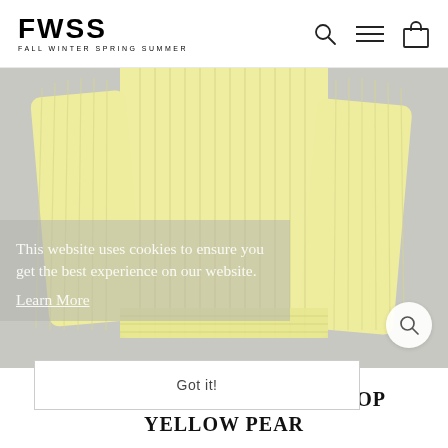FWSS — FALL WINTER SPRING SUMMER
[Figure (photo): A light yellow ribbed knit top (Ever Ours Ribbed Knit Top Yellow Pear) hanging against a light gray background, showing the garment from the front with both sleeves visible.]
This website uses cookies to ensure you get the best experience on our website. Learn More
Got it!
EVER OURS RIBBED KNIT TOP YELLOW PEAR